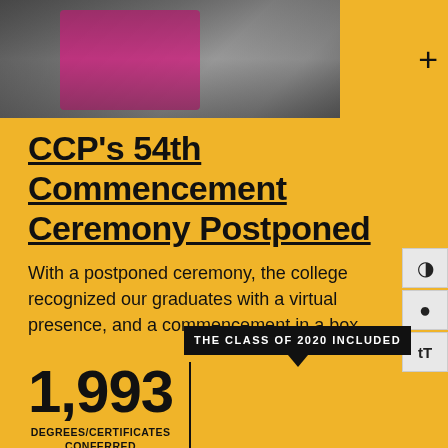[Figure (photo): Graduate in cap and gown holding pink item, photographed outdoors with rocks in background]
CCP's 54th Commencement Ceremony Postponed
With a postponed ceremony, the college recognized our graduates with a virtual presence, and a commencement in a box.
THE CLASS OF 2020 INCLUDED
1,993 DEGREES/CERTIFICATES CONFERRED